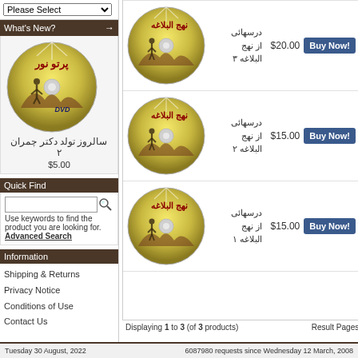Please Select (dropdown)
What's New?
[Figure (photo): CD/DVD disc with Persian text پرتو نور and person silhouette illustration]
سالروز تولد دکتر چمران ۲
$5.00
Quick Find
Use keywords to find the product you are looking for. Advanced Search
Information
Shipping & Returns
Privacy Notice
Conditions of Use
Contact Us
[Figure (photo): CD disc with Persian text نهج البلاغه, product 1 top]
درسهائی از نهج البلاغه ۳
$20.00
Buy Now!
[Figure (photo): CD disc with Persian text نهج البلاغه, product 2 middle]
درسهائی از نهج البلاغه ۲
$15.00
Buy Now!
[Figure (photo): CD disc with Persian text نهج البلاغه, product 3 bottom]
درسهائی از نهج البلاغه ۱
$15.00
Buy Now!
Displaying 1 to 3 (of 3 products)   Result Pages:
Tuesday 30 August, 2022     6087980 requests since Wednesday 12 March, 2008